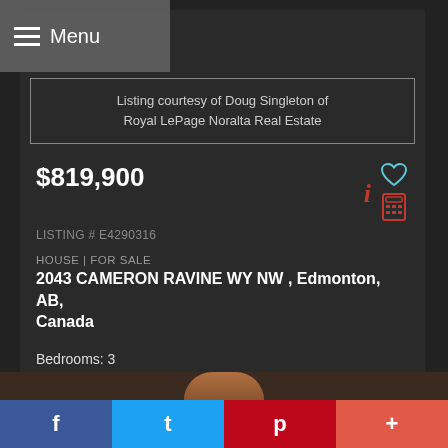Menu
Listing courtesy of Doug Singleton of Royal LePage Noralta Real Estate
$819,900
LISTING # E4290316
HOUSE | FOR SALE
2043 CAMERON RAVINE WY NW , Edmonton, AB, Canada
Bedrooms: 3
Bathrooms: 2+1
Data was last updated 2022-08-17 at 8:26 PM
f  t  p  +